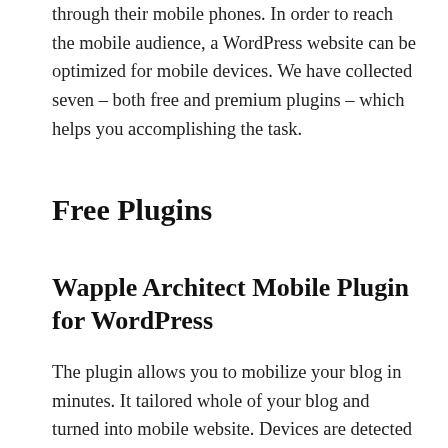through their mobile phones. In order to reach the mobile audience, a WordPress website can be optimized for mobile devices. We have collected seven – both free and premium plugins – which helps you accomplishing the task.
Free Plugins
Wapple Architect Mobile Plugin for WordPress
The plugin allows you to mobilize your blog in minutes. It tailored whole of your blog and turned into mobile website. Devices are detected by using Wapple's advanced web services instead of relying on inferior